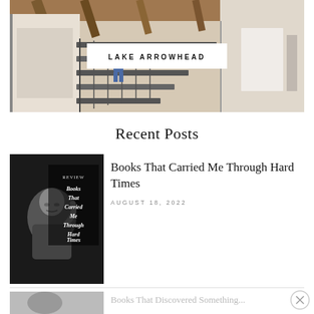[Figure (photo): Interior photo showing a staircase with metal railing and wood ceiling beams; a child in blue stands on the stairs. A white label overlay reads LAKE ARROWHEAD.]
Recent Posts
[Figure (photo): Black and white photo of a woman with eyes closed, with text overlay reading 'Books That Carried Me Through Hard Times']
Books That Carried Me Through Hard Times
AUGUST 18, 2022
[Figure (photo): Partially visible second post thumbnail at bottom of page]